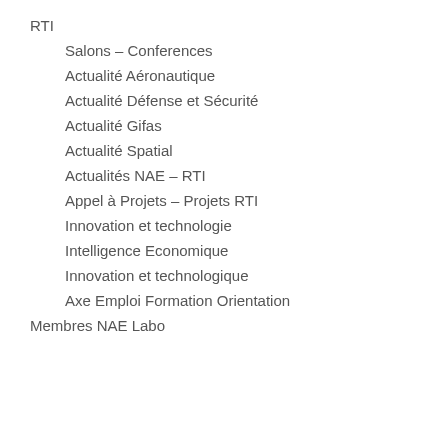RTI
Salons – Conferences
Actualité Aéronautique
Actualité Défense et Sécurité
Actualité Gifas
Actualité Spatial
Actualités NAE – RTI
Appel à Projets – Projets RTI
Innovation et technologie
Intelligence Economique
Innovation et technologique
Axe Emploi Formation Orientation
Membres NAE Labo